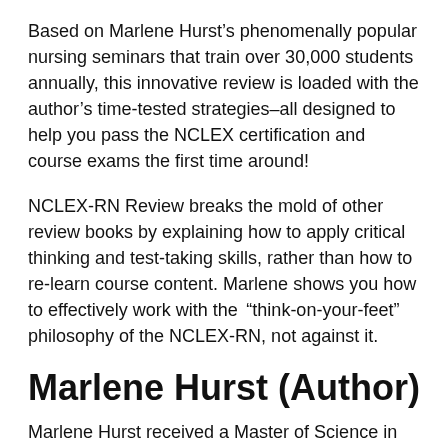Based on Marlene Hurst’s phenomenally popular nursing seminars that train over 30,000 students annually, this innovative review is loaded with the author’s time-tested strategies–all designed to help you pass the NCLEX certification and course exams the first time around!
NCLEX-RN Review breaks the mold of other review books by explaining how to apply critical thinking and test-taking skills, rather than how to re-learn course content. Marlene shows you how to effectively work with the “think-on-your-feet” philosophy of the NCLEX-RN, not against it.
Marlene Hurst (Author)
Marlene Hurst received a Master of Science in